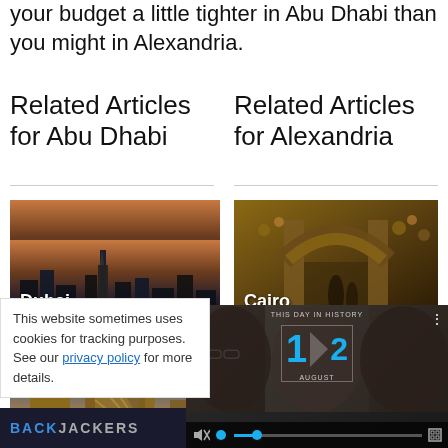your budget a little tighter in Abu Dhabi than you might in Alexandria.
Related Articles for Abu Dhabi
Related Articles for Alexandria
[Figure (photo): Cityscape of Dubai at dusk with skyscrapers and Burj Khalifa, labeled 'Dubai']
[Figure (photo): Cairo marketplace with stone arch and hanging goods, labeled 'Cairo']
[Figure (photo): Dubai hotels image partially visible with Burj Al Arab, labeled 'Dubai Hotels No...']
[Figure (screenshot): Video overlay: 'This Day in History' showing date August 12 with play button and video controls]
This website sometimes uses cookies for tracking purposes. See our privacy policy for more details.
BACKPACKERS